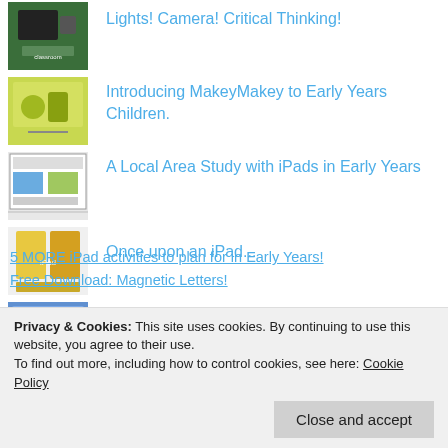Lights! Camera! Critical Thinking!
Introducing MakeyMakey to Early Years Children.
A Local Area Study with iPads in Early Years
Once upon an iPad...
Go! - apps for an early years cars, planes and trains topic. #EYTalking
Privacy & Cookies: This site uses cookies. By continuing to use this website, you agree to their use.
To find out more, including how to control cookies, see here: Cookie Policy
Close and accept
5 MORE iPad activities to plan for in Early Years!
Free Download: Magnetic Letters!